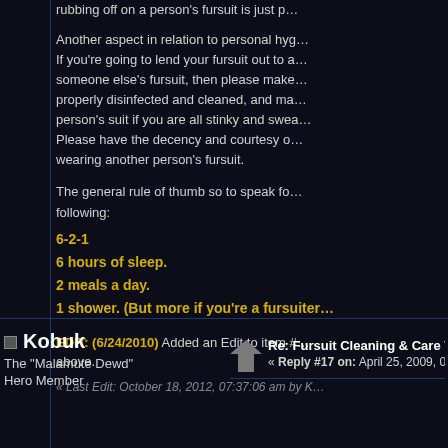rubbing off on a person's fursuit is just p...
Another aspect in relation to personal hyg... If you're going to lend your fursuit out to a... someone else's fursuit, then please make... properly disinfected and cleaned, and ma... person's suit if you are all stinky and swea... Please have the decency and courtesy o... wearing another person's fursuit.
The general rule of thumb so to speak fo... following:
6-2-1
6 hours of sleep.
2 meals a day.
1 shower. (But more if you're a fursuiter...
EDIT: (6/24/2010) Added an Edit to item # above.
« Last Edit: October 18, 2012, 07:37:06 am by K
Kobuk
The "Malamute Dewd"
Hero Member
Re: Fursuit Cleaning & Care Tuto... « Reply #17 on: April 25, 2009, 02:52:10